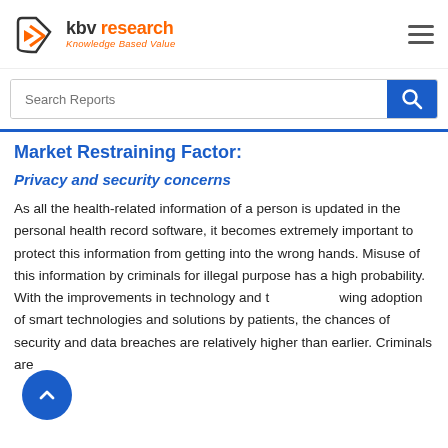KBV Research - Knowledge Based Value
Market Restraining Factor:
Privacy and security concerns
As all the health-related information of a person is updated in the personal health record software, it becomes extremely important to protect this information from getting into the wrong hands. Misuse of this information by criminals for illegal purpose has a high probability. With the improvements in technology and the growing adoption of smart technologies and solutions by patients, the chances of security and data breaches are relatively higher than earlier. Criminals are